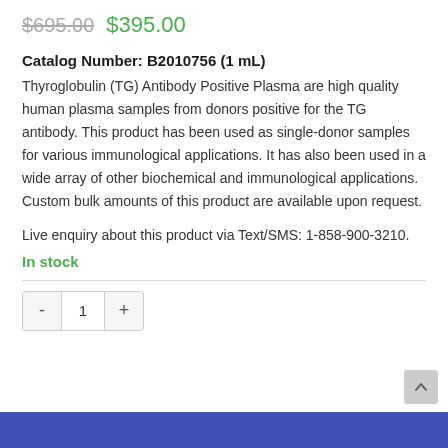$695.00  $395.00
Catalog Number: B2010756 (1 mL)
Thyroglobulin (TG) Antibody Positive Plasma are high quality human plasma samples from donors positive for the TG antibody. This product has been used as single-donor samples for various immunological applications. It has also been used in a wide array of other biochemical and immunological applications. Custom bulk amounts of this product are available upon request.
Live enquiry about this product via Text/SMS: 1-858-900-3210.
In stock